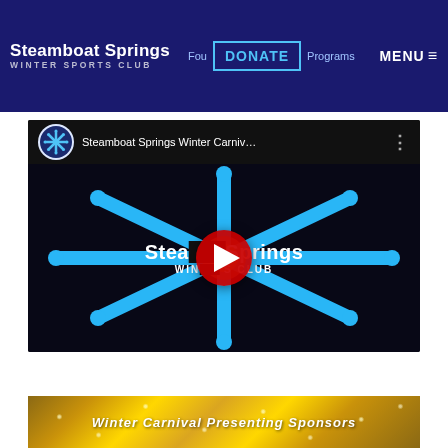Steamboat Springs WINTER SPORTS CLUB — Foundation | DONATE | Programs | MENU
[Figure (screenshot): YouTube video embed thumbnail for 'Steamboat Springs Winter Carni...' showing the Steamboat Springs Winter Sports Club logo (blue snowflake) on a dark background with a red YouTube play button.]
[Figure (photo): Gold glitter banner with white italic text reading 'Winter Carnival Presenting Sponsors']